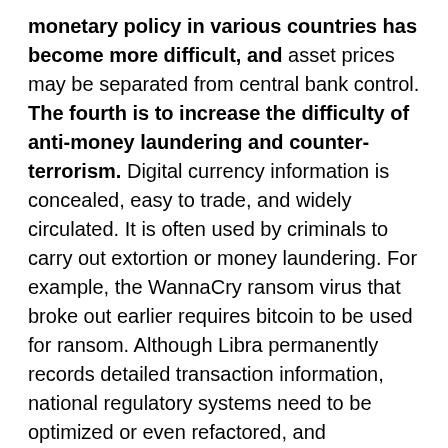monetary policy in various countries has become more difficult, and asset prices may be separated from central bank control. The fourth is to increase the difficulty of anti-money laundering and counter-terrorism. Digital currency information is concealed, easy to trade, and widely circulated. It is often used by criminals to carry out extortion or money laundering. For example, the WannaCry ransom virus that broke out earlier requires bitcoin to be used for ransom. Although Libra permanently records detailed transaction information, national regulatory systems need to be optimized or even refactored, and regulatory loopholes are exploited by offenders.
For the above reasons, national regulators and international organizations generally hold a neutral and cautious attitude towards Libra, and some